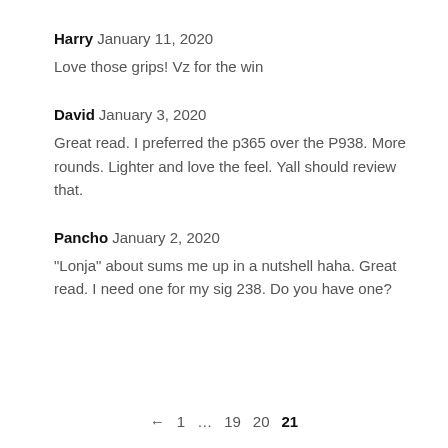Harry January 11, 2020
Love those grips! Vz for the win
David January 3, 2020
Great read. I preferred the p365 over the P938. More rounds. Lighter and love the feel. Yall should review that.
Pancho January 2, 2020
“Lonja” about sums me up in a nutshell haha. Great read. I need one for my sig 238. Do you have one?
← 1 … 19 20 21